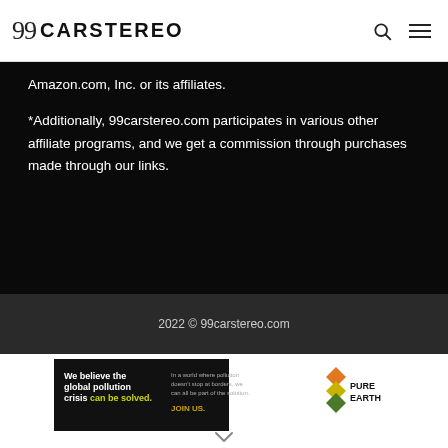99 CARSTEREO
Amazon.com, Inc. or its affiliates.
*Additionally, 99carstereo.com participates in various other affiliate programs, and we get a commission through purchases made through our links.
2022 © 99carstereo.com
[Figure (other): Pure Earth advertisement banner: 'We believe the global pollution crisis can be solved. In a world where pollution doesn't stop at borders, we can all be part of the solution. JOIN US.' with Pure Earth logo (diamond/chevron shape in orange/yellow/green).]